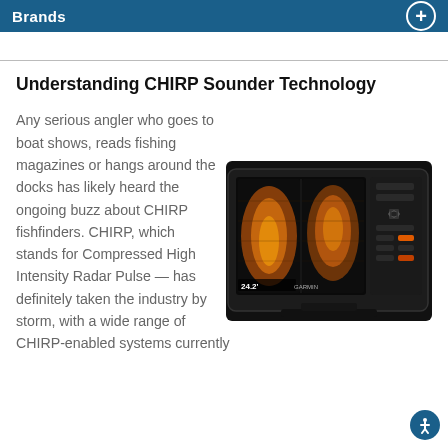Brands
Understanding CHIRP Sounder Technology
[Figure (photo): Garmin CHIRP fishfinder device showing sonar display with orange/amber underwater imagery and depth reading of 24.2 feet]
Any serious angler who goes to boat shows, reads fishing magazines or hangs around the docks has likely heard the ongoing buzz about CHIRP fishfinders. CHIRP, which stands for Compressed High Intensity Radar Pulse — has definitely taken the industry by storm, with a wide range of CHIRP-enabled systems currently